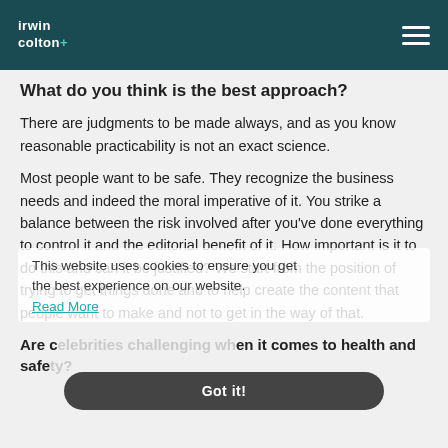irwin colton+
What do you think is the best approach?
There are judgments to be made always, and as you know reasonable practicability is not an exact science.
Most people want to be safe. They recognize the business needs and indeed the moral imperative of it. You strike a balance between the risk involved after you've done everything to control it and the editorial benefit of it. How important is it to do this and can it be justified? We start from the position of trying to get things done and to help create the content that people want to make and not to get in the way of that.
This website uses cookies to ensure you get the best experience on our website.
Read More
Are celebrities challenging when it comes to health and safety?
Got it!